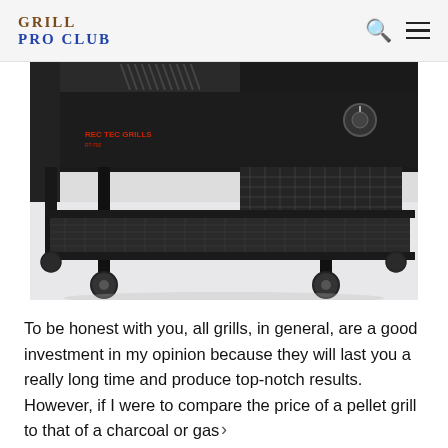GRILL PRO CLUB
[Figure (photo): Close-up photo of the underside and cart frame of a black pellet grill, showing mesh lower shelf, caster wheels, and branding text on the side of the grill body against a white background.]
To be honest with you, all grills, in general, are a good investment in my opinion because they will last you a really long time and produce top-notch results. However, if I were to compare the price of a pellet grill to that of a charcoal or gas